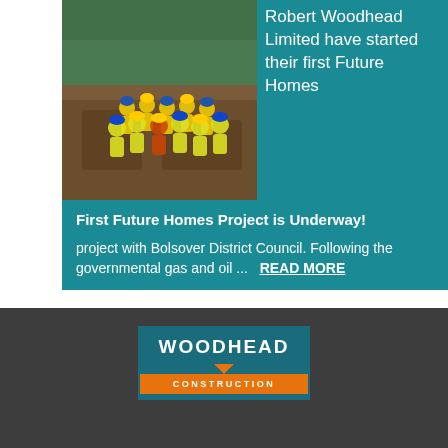[Figure (photo): Group photo of construction workers and team members in hi-vis jackets and hard hats at a construction/groundworks site, aerial/slightly elevated view]
Robert Woodhead Limited have started their first Future Homes
First Future Homes Project is Underway!
project with Bolsover District Council. Following the governmental gas and oil ...  READ MORE
[Figure (logo): Woodhead Construction logo — teal box with WOODHEAD in white bold text above an orange banner reading CONSTRUCTION]